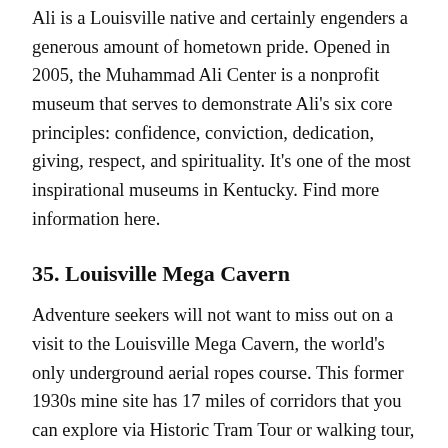Ali is a Louisville native and certainly engenders a generous amount of hometown pride. Opened in 2005, the Muhammad Ali Center is a nonprofit museum that serves to demonstrate Ali's six core principles: confidence, conviction, dedication, giving, respect, and spirituality. It's one of the most inspirational museums in Kentucky. Find more information here.
35. Louisville Mega Cavern
Adventure seekers will not want to miss out on a visit to the Louisville Mega Cavern, the world's only underground aerial ropes course. This former 1930s mine site has 17 miles of corridors that you can explore via Historic Tram Tour or walking tour, on which you can learn about the history and geology of the caverns. This is one of the top places to see in all of